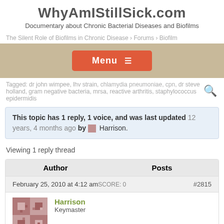WhyAmIStillSick.com
Documentary about Chronic Bacterial Diseases and Biofilms
The Silent Role of Biofilms in Chronic Disease › Forums › Biofilm
[Figure (other): Menu button with hamburger icon on tan/beige background bar]
Tagged: dr john wimpee, lhv strain, chlamydia pneumoniae, cpn, dr steve holland, gram negative bacteria, mrsa, reactive arthritis, staphylococcus epidermidis
This topic has 1 reply, 1 voice, and was last updated 12 years, 4 months ago by Harrison.
Viewing 1 reply thread
| Author | Posts |
| --- | --- |
| February 25, 2010 at 4:12 amSCORE: 0 | #2815 |
| Harrison
Keymaster |  |
[Figure (illustration): User avatar for Harrison - quilt pattern style avatar in brown/rose tones]